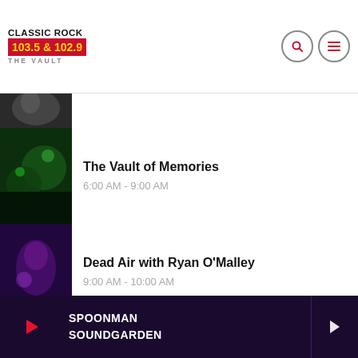Classic Rock 103.5 & 102.9 The Vault
[Figure (screenshot): Partially visible show thumbnail at top]
The Vault of Memories
6:00 AM - 9:00 AM
Dead Air with Ryan O'Malley
9:00 AM - 10:00 AM
Jared Morris
10:00 AM - 3:00 PM
SPOONMAN SOUNDGARDEN